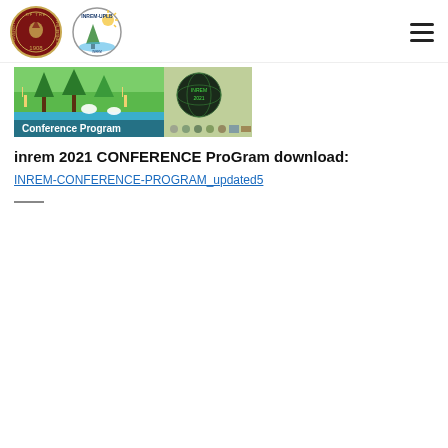[Figure (logo): University of the Philippines seal logo and INREM-UPLB logo side by side in the page header]
[Figure (photo): Conference Program banner image showing green nature/wildlife scene with giraffe and trees on left, dark globe/satellite imagery on right, with 'Conference Program' text and INREM 2021 branding and sponsor logos]
inrem 2021 CONFERENCE ProGram download:
INREM-CONFERENCE-PROGRAM_updated5